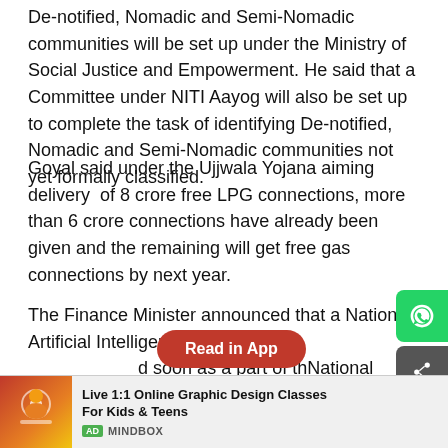De-notified, Nomadic and Semi-Nomadic communities will be set up under the Ministry of Social Justice and Empowerment. He said that a Committee under NITI Aayog will also be set up to complete the task of identifying De-notified, Nomadic and Semi-Nomadic communities not yet formally classified.
Goyal said under the Ujjwala Yojana aiming delivery of 8 crore free LPG connections, more than 6 crore connections have already been given and the remaining will get free gas connections by next year.
The Finance Minister announced that a National Artificial Intelligence Portal will also be launched soon as a part of the National Programme on 'Artificial Intelligence'.
The Department of Industrial Policy and Promotion will now be renamed as the Department for Promotion of Industries and Internal...
[Figure (screenshot): Red pill-shaped button with text 'Read in App']
[Figure (infographic): WhatsApp share icon button (green) and share icon button (grey) on the right side]
[Figure (infographic): Ad banner: Live 1:1 Online Graphic Design Classes For Kids & Teens, AD MINDBOX]